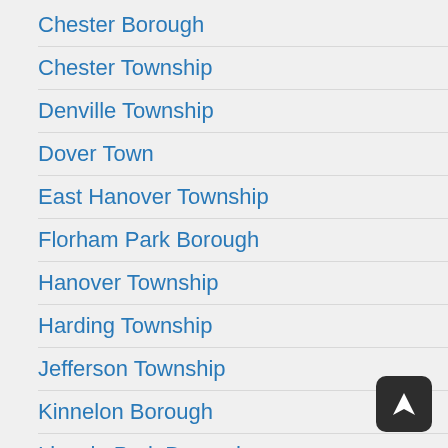Chester Borough
Chester Township
Denville Township
Dover Town
East Hanover Township
Florham Park Borough
Hanover Township
Harding Township
Jefferson Township
Kinnelon Borough
Lincoln Park Borough
Long Hill Township
Madison Borough